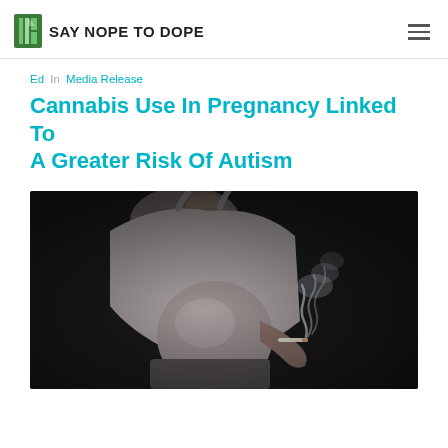SAY NOPE TO DOPE
Ed In Media Release
Cannabis Use In Pregnancy Linked To A Greater Risk Of Autism
[Figure (photo): A pregnant woman in a grey tank top holding a smoking cigarette, photographed against a dark background. Her bare pregnant belly is visible and smoke rises from the cigarette.]